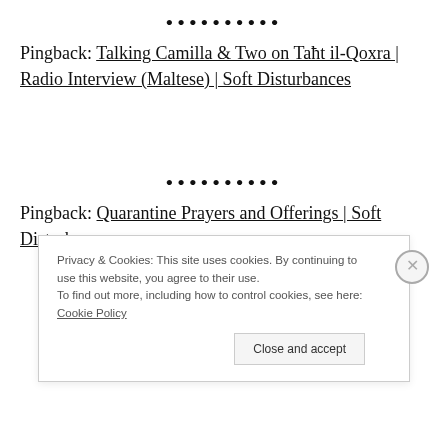•••••••••
Pingback: Talking Camilla & Two on Taħt il-Qoxra | Radio Interview (Maltese) | Soft Disturbances
•••••••••
Pingback: Quarantine Prayers and Offerings | Soft Disturbances
Privacy & Cookies: This site uses cookies. By continuing to use this website, you agree to their use. To find out more, including how to control cookies, see here: Cookie Policy
Close and accept